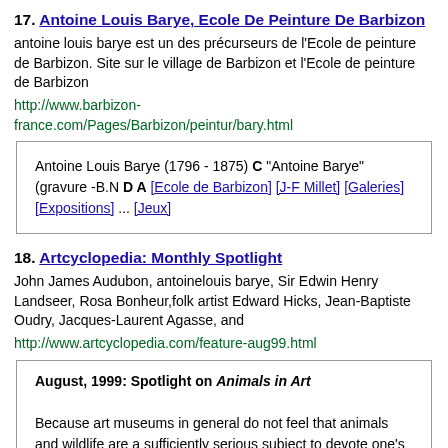17. Antoine Louis Barye, Ecole De Peinture De Barbizon
antoine louis barye est un des précurseurs de l'Ecole de peinture de Barbizon. Site sur le village de Barbizon et l'Ecole de peinture de Barbizon
http://www.barbizon-france.com/Pages/Barbizon/peintur/bary.html
[Figure (screenshot): Snippet box showing: Antoine Louis Barye (1796 - 1875) C "Antoine Barye" (gravure -B.N D A [Ecole de Barbizon] [J-F Millet] [Galeries] [Expositions] ... [Jeux]]
18. Artcyclopedia: Monthly Spotlight
John James Audubon, antoinelouis barye, Sir Edwin Henry Landseer, Rosa Bonheur,folk artist Edward Hicks, Jean-Baptiste Oudry, Jacques-Laurent Agasse, and
http://www.artcyclopedia.com/feature-aug99.html
[Figure (screenshot): Snippet box showing: August, 1999: Spotlight on Animals in Art. Because art museums in general do not feel that animals and wildlife are a sufficiently serious subject to devote one's career to, only]